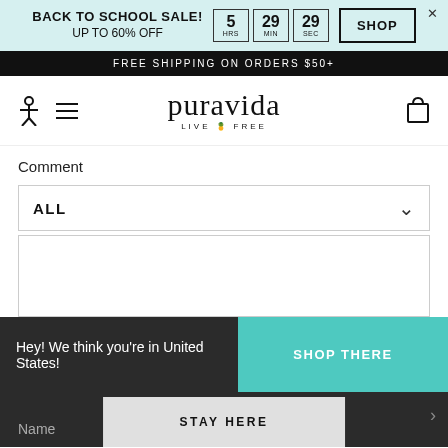BACK TO SCHOOL SALE! UP TO 60% OFF | 5 HRS 29 MIN 29 SEC | SHOP
FREE SHIPPING ON ORDERS $50+
[Figure (logo): Pura Vida brand logo with pineapple icon and tagline LIVE FREE]
Comment
ALL
Hey! We think you're in United States!
SHOP THERE
Name
STAY HERE